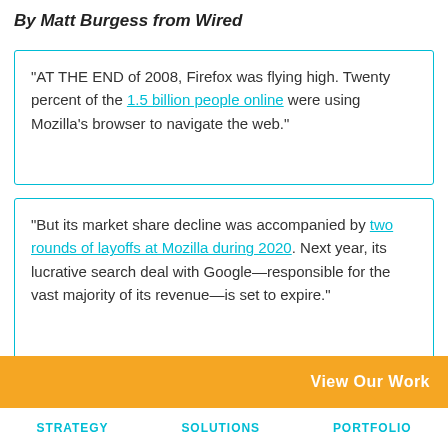By Matt Burgess from Wired
"AT THE END of 2008, Firefox was flying high. Twenty percent of the 1.5 billion people online were using Mozilla's browser to navigate the web."
"But its market share decline was accompanied by two rounds of layoffs at Mozilla during 2020. Next year, its lucrative search deal with Google—responsible for the vast majority of its revenue—is set to expire."
"Each year Google pays Mozilla hundreds of millions of dollars in royalties—reports say that figure is currently in the range of $400 million per year—for its search engine to be set as the
View Our Work
STRATEGY   SOLUTIONS   PORTFOLIO